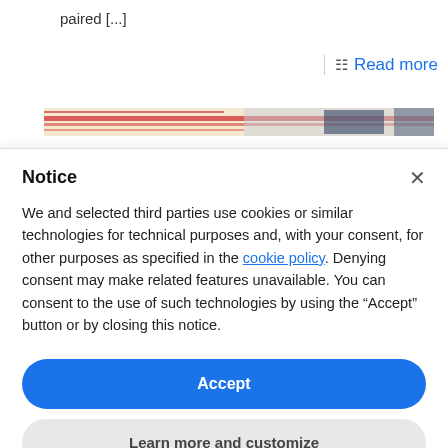paired [...]
Read more
[Figure (photo): Decorative horizontal banner image with red, white, and blue colors]
Notice
We and selected third parties use cookies or similar technologies for technical purposes and, with your consent, for other purposes as specified in the cookie policy. Denying consent may make related features unavailable. You can consent to the use of such technologies by using the “Accept” button or by closing this notice.
Accept
Learn more and customize